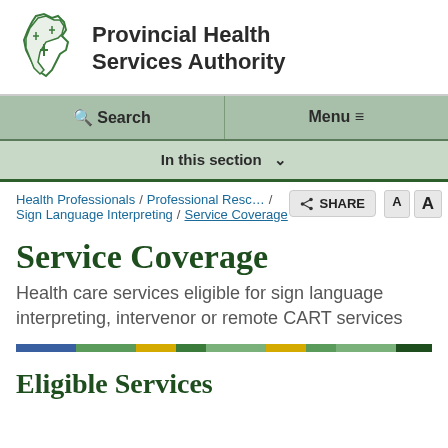[Figure (logo): Provincial Health Services Authority logo with BC outline map in green and bold organization name text]
Search | Menu
In this section
Health Professionals / Professional Resources / Sign Language Interpreting / Service Coverage
Service Coverage
Health care services eligible for sign language interpreting, intervenor or remote CART services
[Figure (infographic): Colorful horizontal rule with segments in blue, green, yellow, and dark green]
Eligible Services